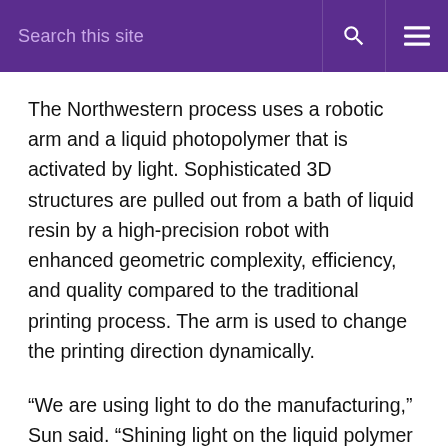Search this site
The Northwestern process uses a robotic arm and a liquid photopolymer that is activated by light. Sophisticated 3D structures are pulled out from a bath of liquid resin by a high-precision robot with enhanced geometric complexity, efficiency, and quality compared to the traditional printing process. The arm is used to change the printing direction dynamically.
“We are using light to do the manufacturing,” Sun said. “Shining light on the liquid polymer causes it to crosslink, or polymerize, converting the liquid to a solid. This contributes to the